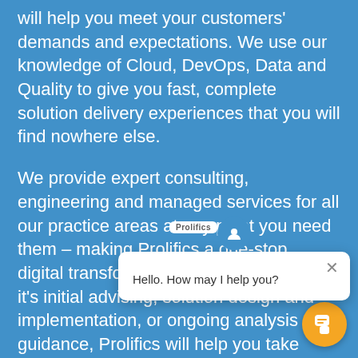will help you meet your customers' demands and expectations. We use our knowledge of Cloud, DevOps, Data and Quality to give you fast, complete solution delivery experiences that you will find nowhere else.
We provide expert consulting, engineering and managed services for all our practice areas at any point you need them – making Prolifics a one-stop, digital transformation partner. Whether it's initial advising, solution design and implementation, or ongoing analysis and guidance, Prolifics will help you take charge of your digital future.
[Figure (screenshot): Chat widget popup overlay with message 'Hello. How may I help you?' and an orange chat bubble button in the bottom-right corner.]